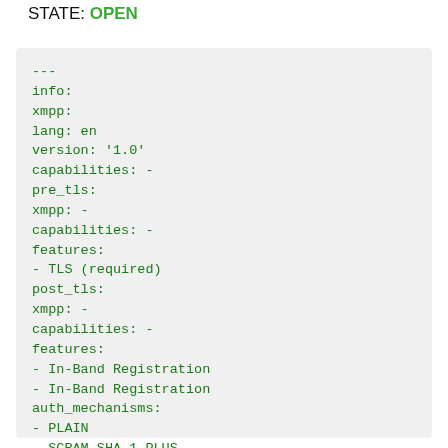STATE: OPEN
---
info:
xmpp:
lang: en
version: '1.0'
capabilities: -
pre_tls:
xmpp: -
capabilities: -
features:
- TLS (required)
post_tls:
xmpp: -
capabilities: -
features:
- In-Band Registration
- In-Band Registration
auth_mechanisms:
- PLAIN
- SCRAM-SHA-1-PLUS
- SCRAM-SHA-1